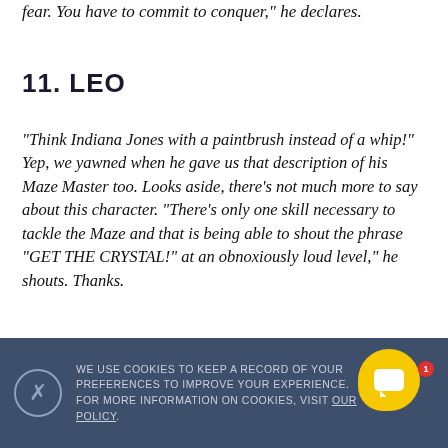fear. You have to commit to conquer," he declares.
11. LEO
“Think Indiana Jones with a paintbrush instead of a whip!” Yep, we yawned when he gave us that description of his Maze Master too. Looks aside, there’s not much more to say about this character. “There’s only one skill necessary to tackle the Maze and that is being able to shout the phrase “GET THE CRYSTAL!” at an obnoxiously loud level,” he shouts. Thanks.
WE USE COOKIES TO KEEP A RECORD OF YOUR PREFERENCES TO IMPROVE YOUR EXPERIENCE. FOR MORE INFORMATION ON COOKIES, VISIT OUR POLICY.